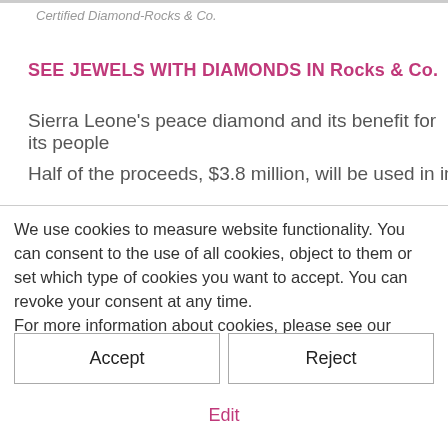Certified Diamond-Rocks & Co.
SEE JEWELS WITH DIAMONDS IN Rocks & Co.
Sierra Leone's peace diamond and its benefit for its people
Half of the proceeds, $3.8 million, will be used in infrastructure
We use cookies to measure website functionality. You can consent to the use of all cookies, object to them or set which type of cookies you want to accept. You can revoke your consent at any time.
For more information about cookies, please see our Information about cookies.
Accept
Reject
Edit